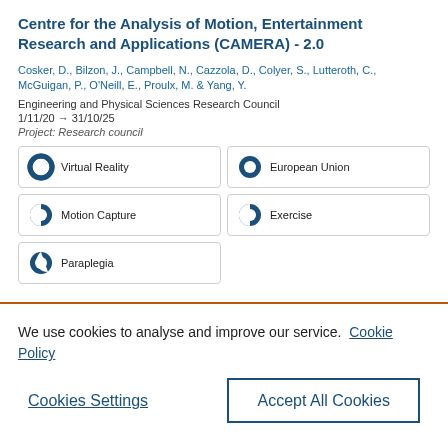Centre for the Analysis of Motion, Entertainment Research and Applications (CAMERA) - 2.0
Cosker, D., Bilzon, J., Campbell, N., Cazzola, D., Colyer, S., Lutteroth, C., McGuigan, P., O'Neill, E., Proulx, M. & Yang, Y.
Engineering and Physical Sciences Research Council
1/11/20 → 31/10/25
Project: Research council
Virtual Reality
European Union
Motion Capture
Exercise
Paraplegia
We use cookies to analyse and improve our service. Cookie Policy
Cookies Settings
Accept All Cookies